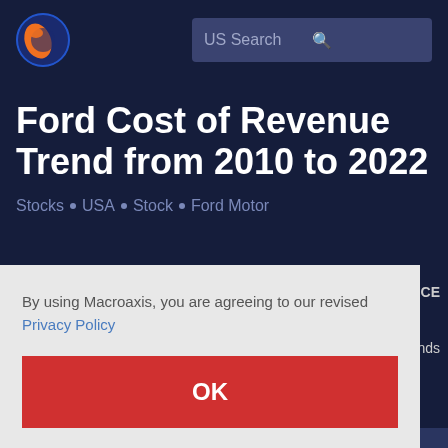[Figure (logo): Macroaxis globe logo — orange and blue circular globe icon]
US Search
Ford Cost of Revenue Trend from 2010 to 2022
Stocks . USA . Stock . Ford Motor
By using Macroaxis, you are agreeing to our revised Privacy Policy
OK